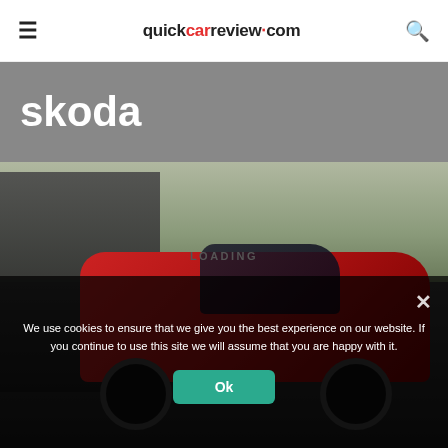quickcarreview.com
skoda
[Figure (photo): A man standing next to a red Skoda car outdoors with bare trees in the background. Text 'LOADING' overlaid on the image.]
We use cookies to ensure that we give you the best experience on our website. If you continue to use this site we will assume that you are happy with it.